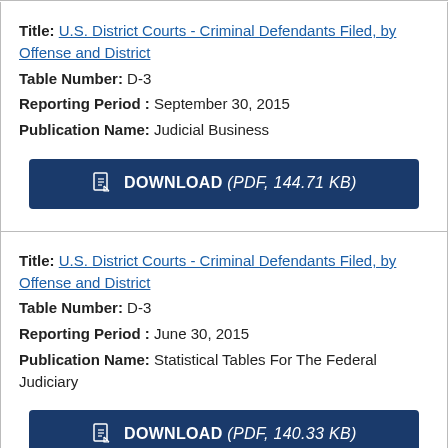Title: U.S. District Courts - Criminal Defendants Filed, by Offense and District
Table Number: D-3
Reporting Period: September 30, 2015
Publication Name: Judicial Business
DOWNLOAD (PDF, 144.71 KB)
Title: U.S. District Courts - Criminal Defendants Filed, by Offense and District
Table Number: D-3
Reporting Period: June 30, 2015
Publication Name: Statistical Tables For The Federal Judiciary
DOWNLOAD (PDF, 140.33 KB)
Title: U.S. District Courts - Criminal Defendants Filed, by Offense